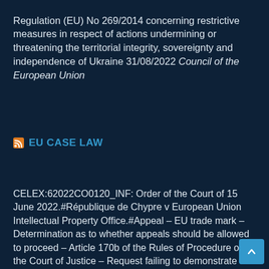Regulation (EU) No 269/2014 concerning restrictive measures in respect of actions undermining or threatening the territorial integrity, sovereignty and independence of Ukraine 31/08/2022 Council of the European Union
EU CASE LAW
CELEX:62022CO0120_INF: Order of the Court of 15 June 2022.#République de Chypre v European Union Intellectual Property Office.#Appeal – EU trade mark – Determination as to whether appeals should be allowed to proceed – Article 170b of the Rules of Procedure of the Court of Justice – Request failing to demonstrate that an issue is significant with respect to the unity, coherence or development of EU law – Refusal to allow the appeal to proceed.#Case C-